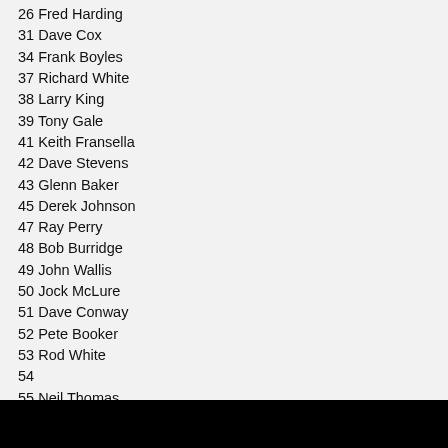26 Fred Harding
31 Dave Cox
34 Frank Boyles
37 Richard White
38 Larry King
39 Tony Gale
41 Keith Fransella
42 Dave Stevens
43 Glenn Baker
45 Derek Johnson
47 Ray Perry
48 Bob Burridge
49 John Wallis
50 Jock McLure
51 Dave Conway
52 Pete Booker
53 Rod White
54
55 Neil Thomas
56 Alf Skingley
57 John Cooke
61 Ronald Hobden
62 John Withers
63 Brian Forrest
69 Bill Boarer
73 Bob Elson